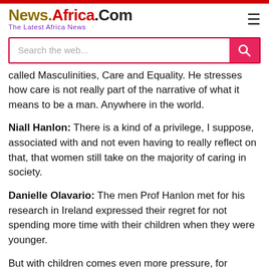News.Africa.Com — The Latest Africa News
[Figure (screenshot): Search bar with pink magnifying glass button and placeholder text 'Search the web...']
called Masculinities, Care and Equality. He stresses how care is not really part of the narrative of what it means to be a man. Anywhere in the world.
Niall Hanlon: There is a kind of a privilege, I suppose, associated with and not even having to really reflect on that, that women still take on the majority of caring in society.
Danielle Olavario: The men Prof Hanlon met for his research in Ireland expressed their regret for not spending more time with their children when they were younger.
But with children comes even more pressure, for breadwinning men. Anywhere in the world.
Niall Hanlon: When men have young children that they